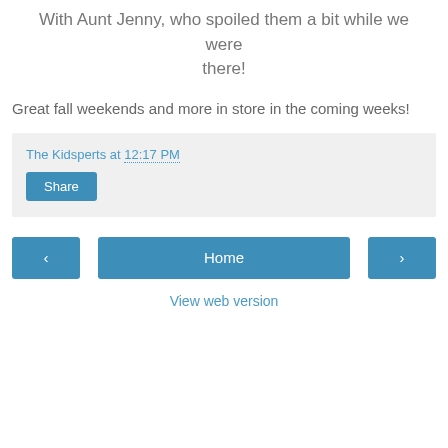With Aunt Jenny, who spoiled them a bit while we were there!
Great fall weekends and more in store in the coming weeks!
The Kidsperts at 12:17 PM
Share
‹
Home
›
View web version